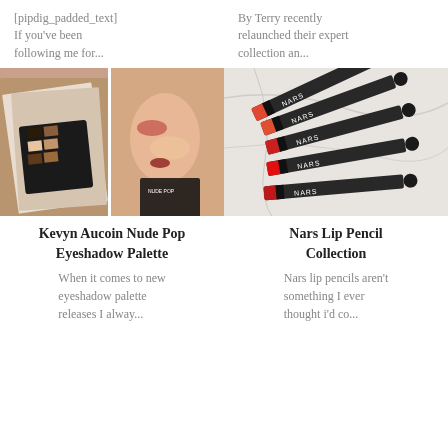[pipdig_padded_text] If you've been following me for...
By Terry recently relaunched their expert collection an...
[Figure (photo): Kevyn Aucoin Nude Pop Eyeshadow Palette product photo with makeup palette and model]
[Figure (photo): Nars Lip Pencil Collection - several NARS lip pencils on marble background]
Kevyn Aucoin Nude Pop Eyeshadow Palette
Nars Lip Pencil Collection
When it comes to new eyeshadow palette releases I alway...
Nars lip pencils aren't something I ever thought i'd co...